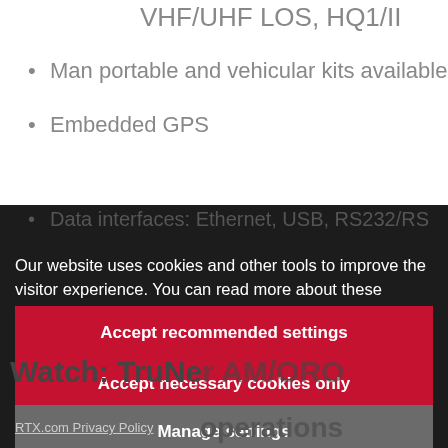VHF/UHF LOS, HQ1/II
Man portable and vehicular kits available
Embedded GPS
Data interfaces: Ethernet, USB, RS232/RS
Our website uses cookies and other tools to improve the visitor experience. You can read more about these cookies and tools by clicking on the gray button. To visit our site, click on a button to choose your settings.
Accept recommended settings
Accept necessary cookies only
Manage settings
RTX.com Privacy Policy